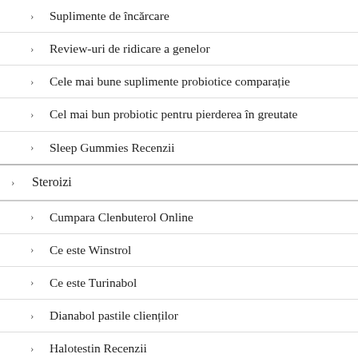Suplimente de încărcare
Review-uri de ridicare a genelor
Cele mai bune suplimente probiotice comparație
Cel mai bun probiotic pentru pierderea în greutate
Sleep Gummies Recenzii
Steroizi
Cumpara Clenbuterol Online
Ce este Winstrol
Ce este Turinabol
Dianabol pastile clienților
Halotestin Recenzii
Anavar clienților
Testosteronul Cypionate clienților